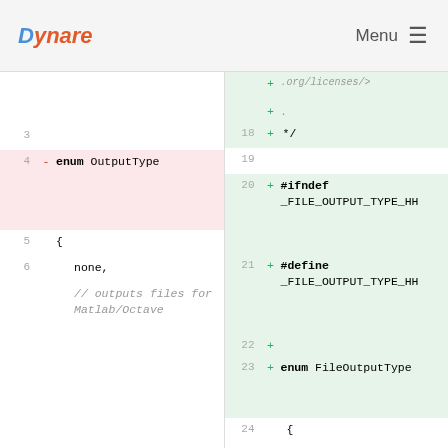Dynare   Menu
Code diff showing changes between old file (lines 3-6) and new file (lines 18-25), including removal of 'enum OutputType' and addition of #ifndef _FILE_OUTPUT_TYPE_HH, #define _FILE_OUTPUT_TYPE_HH, and 'enum FileOutputType'